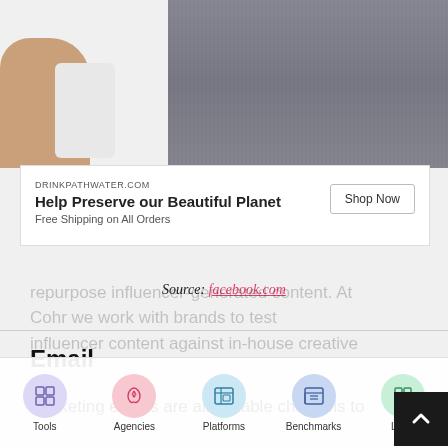[Figure (photo): Photo showing a hand holding a phone against a grey shirt background, part of a Facebook ad screenshot]
DRINKPATHWATER.COM
Help Preserve our Beautiful Planet
Free Shipping on All Orders
Shop Now
Source: facebook.com
Email
Marketing emails are also viable channels to repurpose influencer-generated content. At Cohr we work with brands to test influencer content against in-house creative